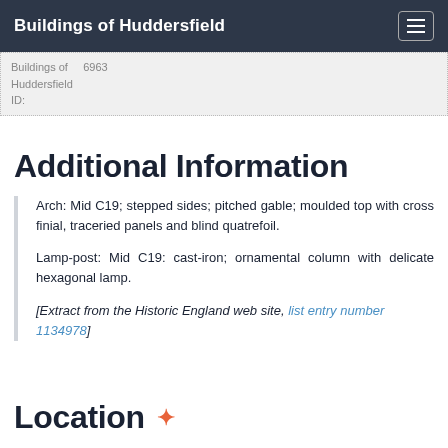Buildings of Huddersfield
Buildings of Huddersfield
ID:
Additional Information
Arch: Mid C19; stepped sides; pitched gable; moulded top with cross finial, traceried panels and blind quatrefoil.

Lamp-post: Mid C19: cast-iron; ornamental column with delicate hexagonal lamp.

[Extract from the Historic England web site, list entry number 1134978]
Location